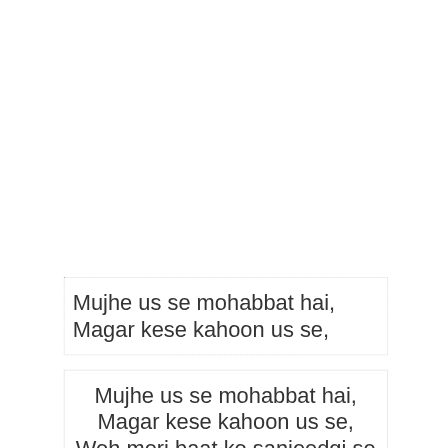Mujhe us se mohabbat hai,
Magar kese kahoon us se,
Mujhe us se mohabbat hai,
Magar kese kahoon us se,
Woh meri baat ko sanjeedgi se